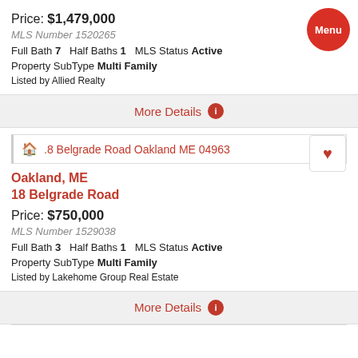Price: $1,479,000
MLS Number 1520265
Full Bath 7   Half Baths 1   MLS Status Active
Property SubType Multi Family
Listed by Allied Realty
More Details
.8 Belgrade Road Oakland ME 04963
Oakland, ME
18 Belgrade Road
Price: $750,000
MLS Number 1529038
Full Bath 3   Half Baths 1   MLS Status Active
Property SubType Multi Family
Listed by Lakehome Group Real Estate
More Details